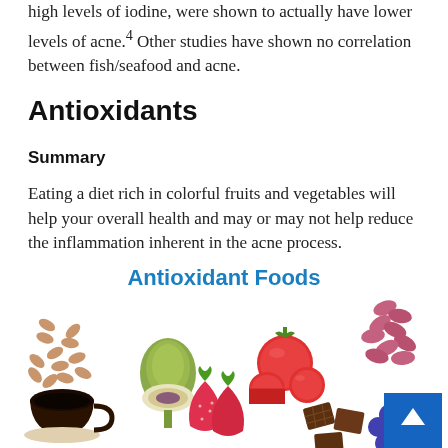high levels of iodine, were shown to actually have lower levels of acne.4 Other studies have shown no correlation between fish/seafood and acne.
Antioxidants
Summary
Eating a diet rich in colorful fruits and vegetables will help your overall health and may or may not help reduce the inflammation inherent in the acne process.
[Figure (infographic): Antioxidant Foods infographic showing various antioxidant-rich foods: grains/nuts, artichoke, tomatoes, kidney beans, strawberries, chocolate, blueberries, and a cup of coffee. Title reads 'Antioxidant Foods' in blue text.]